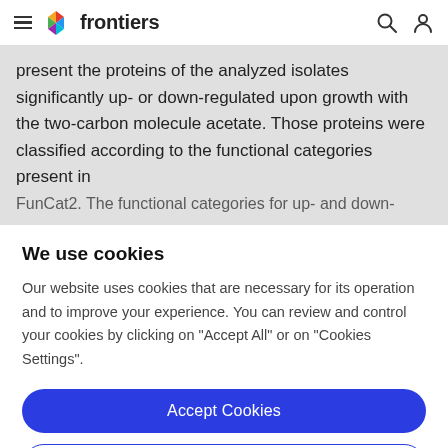frontiers
present the proteins of the analyzed isolates significantly up- or down-regulated upon growth with the two-carbon molecule acetate. Those proteins were classified according to the functional categories present in FunCat2. The functional categories for up- and down-
We use cookies
Our website uses cookies that are necessary for its operation and to improve your experience. You can review and control your cookies by clicking on "Accept All" or on "Cookies Settings".
Accept Cookies
Cookies Settings